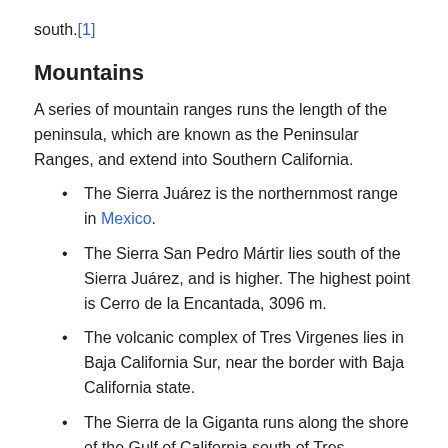south.[1]
Mountains
A series of mountain ranges runs the length of the peninsula, which are known as the Peninsular Ranges, and extend into Southern California.
The Sierra Juárez is the northernmost range in Mexico.
The Sierra San Pedro Mártir lies south of the Sierra Juárez, and is higher. The highest point is Cerro de la Encantada, 3096 m.
The volcanic complex of Tres Virgenes lies in Baja California Sur, near the border with Baja California state.
The Sierra de la Giganta runs along the shore of the Gulf of California south of Tres Virgenes.